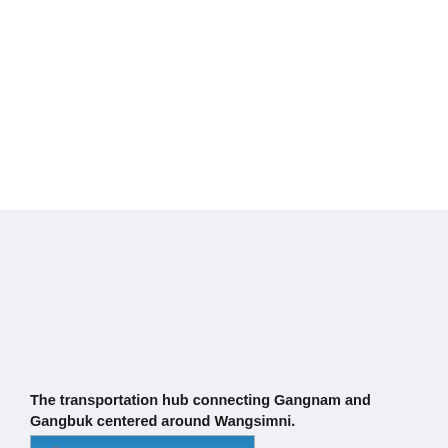[Figure (photo): A modern train (subway/metro) on an elevated track under blue sky, with overhead electric wire gantries and poles visible. Urban rail infrastructure. Location appears to be South Korea (Wangsimni area).]
The transportation hub connecting Gangnam and Gangbuk centered around Wangsimni.